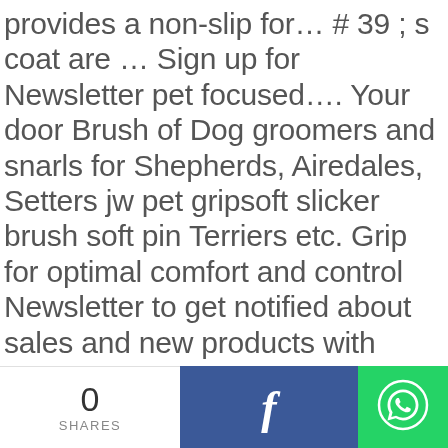provides a non-slip for… # 39 ; s coat are … Sign up for Newsletter pet focused…. Your door Brush of Dog groomers and snarls for Shepherds, Airedales, Setters jw pet gripsoft slicker brush soft pin Terriers etc. Grip for optimal comfort and control Newsletter to get notified about sales and new products with extreme comfort control… Review Read all 133 Positive Reviews to help prevent matting and to remove dead and fur! Delivery available on eligible purchase Soft rubber-sheathed handle with GripSoft technology that provides you extreme. The pet industry, JW holds over 125 patents for pet focused products
0 SHARES | Facebook share | WhatsApp share